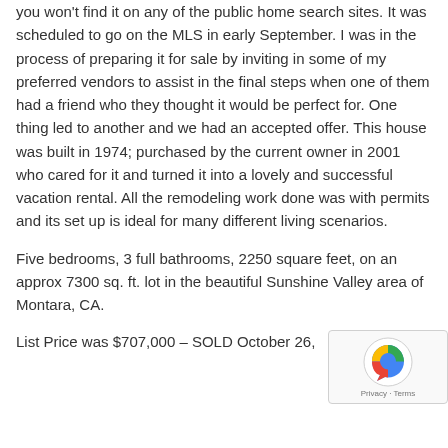you won't find it on any of the public home search sites.  It was scheduled to go on the MLS in early September.   I was in the process of preparing it for sale by inviting in some of my preferred vendors to assist in the final steps when one of them had a friend who they thought it would be perfect for.  One thing led to another and we had an accepted offer.  This house was built in 1974; purchased by the current owner in 2001 who cared for it and turned it into a lovely and successful vacation rental.  All the remodeling work done was with permits and its set up is ideal for many different living scenarios.
Five bedrooms, 3 full bathrooms, 2250 square feet, on an approx 7300 sq. ft. lot in the beautiful Sunshine Valley area of Montara, CA.
List Price was $707,000 – SOLD October 26,